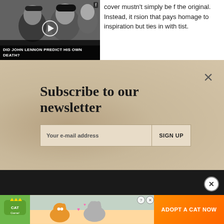[Figure (screenshot): Black and white video thumbnail showing two people (John Lennon and Yoko Ono), with play button overlay and caption 'DID JOHN LENNON PREDICT HIS OWN DEATH?']
cover mustn't simply be f the original. Instead, it rsion that pays homage to inspiration but ties in with tist.
Subscribe to our newsletter
Your e-mail address	SIGN UP
[Figure (screenshot): Black advertisement banner with close X button]
[Figure (screenshot): Cat Game advertisement banner showing cats and 'ADOPT A CAT NOW' button]